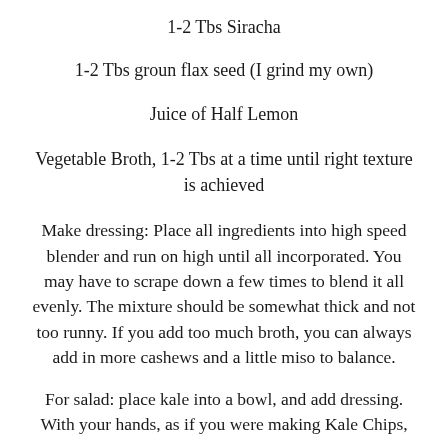1-2 Tbs Siracha
1-2 Tbs groun flax seed (I grind my own)
Juice of Half Lemon
Vegetable Broth, 1-2 Tbs at a time until right texture is achieved
Make dressing: Place all ingredients into high speed blender and run on high until all incorporated. You may have to scrape down a few times to blend it all evenly. The mixture should be somewhat thick and not too runny. If you add too much broth, you can always add in more cashews and a little miso to balance.
For salad: place kale into a bowl, and add dressing. With your hands, as if you were making Kale Chips, massage the dressing into the leaves. This